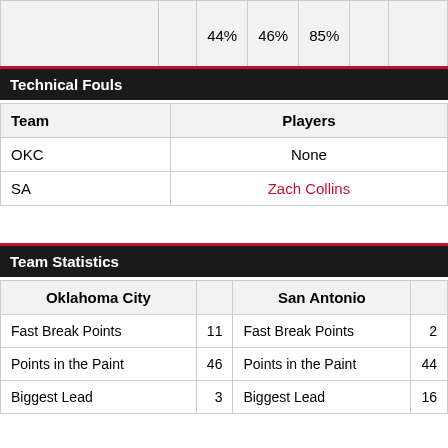|  |  | 44% | 46% | 85% |  |  |
| --- | --- | --- | --- | --- | --- | --- |
Technical Fouls
| Team | Players |
| --- | --- |
| OKC | None |
| SA | Zach Collins |
Team Statistics
| Oklahoma City |  | San Antonio |  |
| --- | --- | --- | --- |
| Fast Break Points | 11 | Fast Break Points | 2 |
| Points in the Paint | 46 | Points in the Paint | 44 |
| Biggest Lead | 3 | Biggest Lead | 16 |